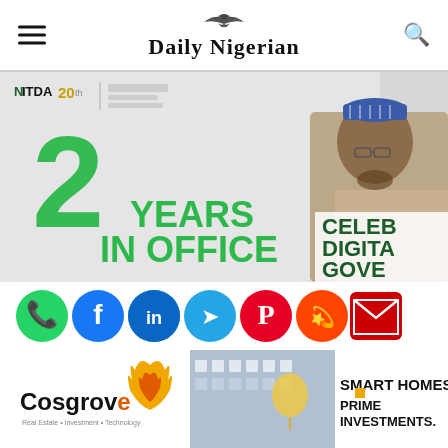Daily Nigerian
[Figure (photo): NITDA 20th anniversary banner showing official in traditional attire with text '2 YEARS IN OFFICE' and 'CELEBRATING DIGITAL GOVERNANCE']
[Figure (infographic): Social media sharing icons row: WhatsApp, Facebook, Twitter, LinkedIn, Telegram, Pinterest, Reddit, Email]
[Figure (photo): Cosgrove Real Estate advertisement showing apartment building with text 'SMART HOMES. PRIME INVESTMENTS.']